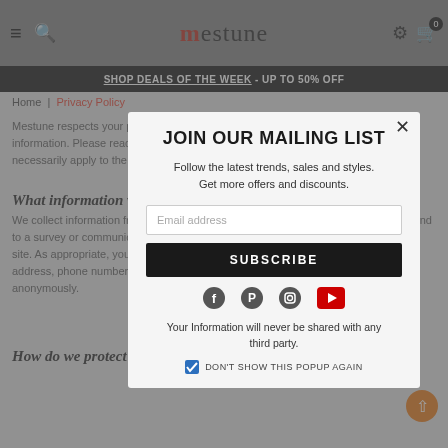mestune — navigation header with hamburger, search, logo, settings, cart (0)
SHOP DEALS OF THE WEEK - UP TO 50% OFF
Home | Privacy Policy
JOIN OUR MAILING LIST
Follow the latest trends, sales and styles. Get more offers and discounts.
Email address
SUBSCRIBE
[Figure (infographic): Social media icons: Facebook, Pinterest, Instagram, YouTube]
Your Information will never be shared with any third party.
DON'T SHOW THIS POPUP AGAIN
Mestune respects your privacy, and make it a solid policy to protect your personal information. Please read this privacy policy notice applies to the website, if not necessarily apply to the collection of your information.
What information we collect?
We collect information from you when you register on our site, place an order, respond to a survey or communication such as e-mail, or participating or registering on our site. As appropriate, you may be asked to enter your: name, e-mail address, mailing address, phone number or credit card information. You may, however, visit our site anonymously.
How do we protect your information?